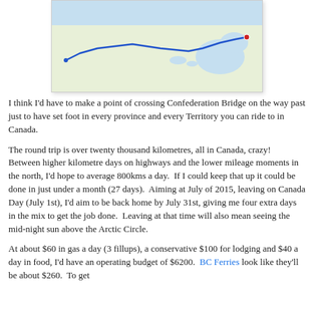[Figure (map): A Google Maps route map showing a road trip route across Canada, with a blue line tracing from western Canada across to the eastern provinces including Maritime provinces.]
I think I'd have to make a point of crossing Confederation Bridge on the way past just to have set foot in every province and every Territory you can ride to in Canada.
The round trip is over twenty thousand kilometres, all in Canada, crazy!  Between higher kilometre days on highways and the lower mileage moments in the north, I'd hope to average 800kms a day.  If I could keep that up it could be done in just under a month (27 days).  Aiming at July of 2015, leaving on Canada Day (July 1st), I'd aim to be back home by July 31st, giving me four extra days in the mix to get the job done.  Leaving at that time will also mean seeing the mid-night sun above the Arctic Circle.
At about $60 in gas a day (3 fillups), a conservative $100 for lodging and $40 a day in food, I'd have an operating budget of $6200.  BC Ferries look like they'll be about $260.  To get